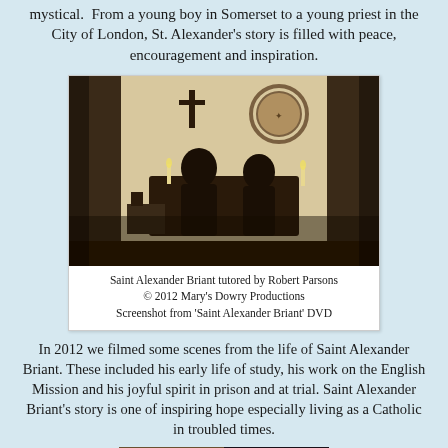mystical. From a young boy in Somerset to a young priest in the City of London, St. Alexander's story is filled with peace, encouragement and inspiration.
[Figure (photo): Two people in dark clothing seated at a desk with candles and books in a chapel-like room with a crucifix on the wall and a decorative circular emblem. Sepia-toned screenshot from Saint Alexander Briant DVD.]
Saint Alexander Briant tutored by Robert Parsons
© 2012 Mary's Dowry Productions
Screenshot from 'Saint Alexander Briant' DVD
In 2012 we filmed some scenes from the life of Saint Alexander Briant. These included his early life of study, his work on the English Mission and his joyful spirit in prison and at trial. Saint Alexander Briant's story is one of inspiring hope especially living as a Catholic in troubled times.
[Figure (photo): Partial bottom image, appears to show a person, cut off at page bottom.]